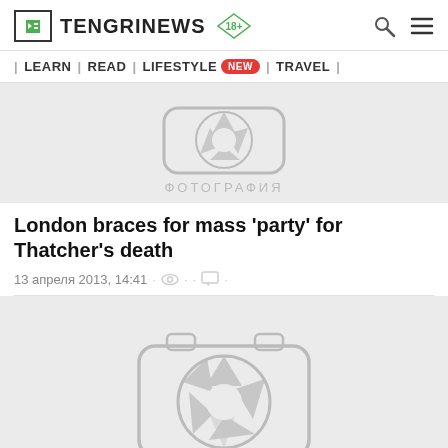TENGRINEWS 18+
| LEARN | READ | LIFESTYLE NEW | TRAVEL |
[Figure (photo): Partial camera/photo icon placeholder (top portion visible), grey background, text ФОТОГРАФИЯ below icon]
London braces for mass 'party' for Thatcher's death
13 апреля 2013, 14:41 · · ·
[Figure (photo): Camera/photo placeholder icon on grey background, showing a stylized camera with lens aperture symbol]